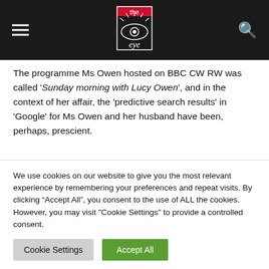the eye - logo with hamburger menu and search icon
The programme Ms Owen hosted on BBC CW RW was called ‘Sunday morning with Lucy Owen’, and in the context of her affair, the ‘predictive search results’ in ‘Google’ for Ms Owen and her husband have been, perhaps, prescient.
[Figure (photo): Partial photograph of a man with dark hair, indoor setting with window visible in background]
We use cookies on our website to give you the most relevant experience by remembering your preferences and repeat visits. By clicking “Accept All”, you consent to the use of ALL the cookies. However, you may visit "Cookie Settings" to provide a controlled consent.